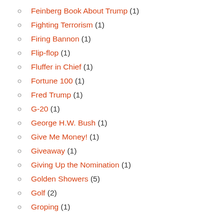Feinberg Book About Trump (1)
Fighting Terrorism (1)
Firing Bannon (1)
Flip-flop (1)
Fluffer in Chief (1)
Fortune 100 (1)
Fred Trump (1)
G-20 (1)
George H.W. Bush (1)
Give Me Money! (1)
Giveaway (1)
Giving Up the Nomination (1)
Golden Showers (5)
Golf (2)
Groping (1)